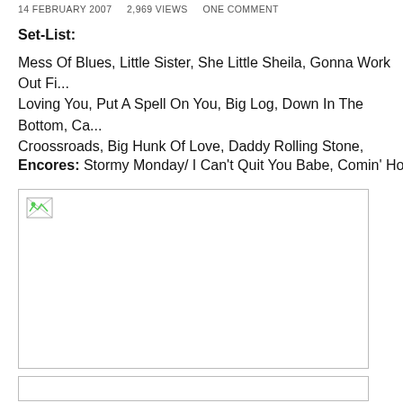14 FEBRUARY 2007   2,969 VIEWS   ONE COMMENT
Set-List:
Mess Of Blues, Little Sister, She Little Sheila, Gonna Work Out Fine, Loving You, Put A Spell On You, Big Log, Down In The Bottom, Ca... Croossroads, Big Hunk Of Love, Daddy Rolling Stone,
Encores: Stormy Monday/ I Can't Quit You Babe, Comin' Home, W...
[Figure (photo): Broken/missing image placeholder with border]
[Figure (photo): Partial bottom box, content cut off]